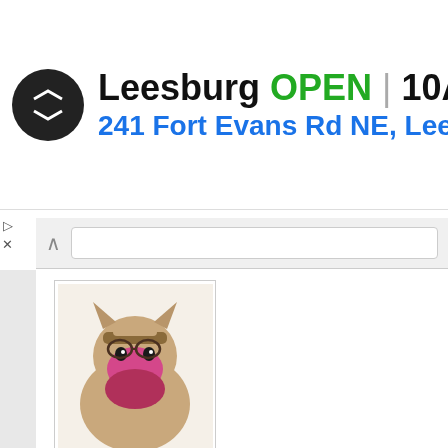[Figure (infographic): Ad banner showing a circular black logo with double arrow symbol, text 'Leesburg OPEN 10AM-9PM' and address '241 Fort Evans Rd NE, Leesb' with a blue diamond navigation arrow icon]
Ayanna | October 7, 2020 at 9:43 pm | Reply
I think we're only as limited as we believe, there are so many ways to open your mind it's awesome, You just have to be willing to see things in more than one way but most of the people on this planet are to narrow minded to even bother exploring other possibilities.